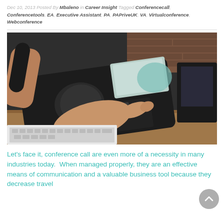Dec 10, 2013 Posted By Mbaleno in Career Insight Tagged Conferencecall, Conferencetools, EA, Executive Assistant, PA, PAPriveUK, VA, Virtualconference, Webconference
[Figure (photo): Close-up photo of a person's hand pressing buttons on a black office conference phone/VoIP telephone on a desk, with a laptop keyboard visible in the foreground.]
Let's face it, conference call are even more of a necessity in many industries today.  When managed properly, they are an effective means of communication and a valuable business tool because they decrease travel